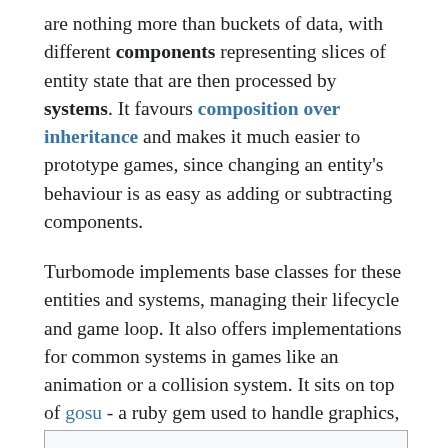are nothing more than buckets of data, with different components representing slices of entity state that are then processed by systems. It favours composition over inheritance and makes it much easier to prototype games, since changing an entity's behaviour is as easy as adding or subtracting components.
Turbomode implements base classes for these entities and systems, managing their lifecycle and game loop. It also offers implementations for common systems in games like an animation or a collision system. It sits on top of gosu - a ruby gem used to handle graphics, sound and input - abstracting some of its functionality away.